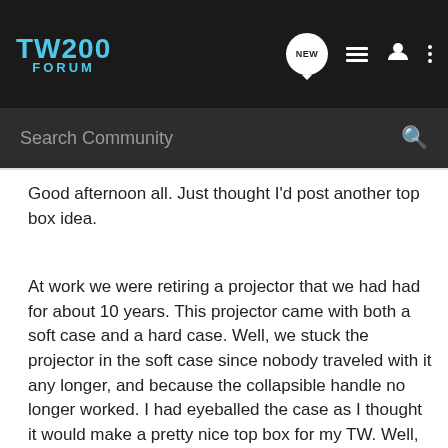TW200 FORUM
Search Community
Good afternoon all. Just thought I'd post another top box idea.
At work we were retiring a projector that we had had for about 10 years. This projector came with both a soft case and a hard case. Well, we stuck the projector in the soft case since nobody traveled with it any longer, and because the collapsible handle no longer worked. I had eyeballed the case as I thought it would make a pretty nice top box for my TW. Well, my boss let me have it and it made it's way to my house.